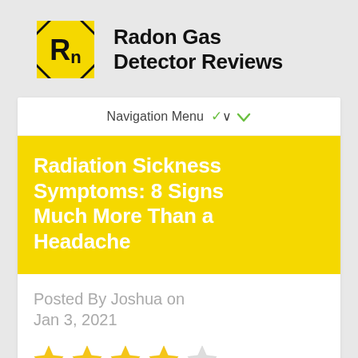[Figure (logo): Radon Gas Detector Reviews logo: yellow square with arrow-corner decorations and bold 'Rn' text in black, beside site name text]
Radon Gas Detector Reviews
Navigation Menu ∨
Radiation Sickness Symptoms: 8 Signs Much More Than a Headache
Posted By Joshua on Jan 3, 2021
[Figure (other): 4 filled yellow star rating icons and 1 empty/grey star icon, representing a 4 out of 5 star rating]